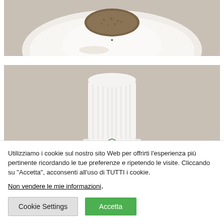[Figure (photo): Top portion of a food photo showing a white plate with a breaded/crusted food item on it, beige/cream background]
[Figure (photo): Photo showing a tall white chef's hat (toque blanche) with a logo/badge on it, against a beige/light brown background, partially cropped at bottom]
Utilizziamo i cookie sul nostro sito Web per offrirti l'esperienza più pertinente ricordando le tue preferenze e ripetendo le visite. Cliccando su "Accetta", acconsenti all'uso di TUTTI i cookie.
Non vendere le mie informazioni.